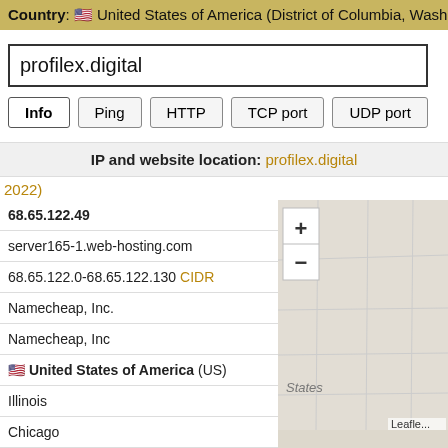Country: 🇺🇸 United States of America (District of Columbia, Washington D.C
profilex.digital
Info  Ping  HTTP  TCP port  UDP port
IP and website location: profilex.digital
2022)
| 68.65.122.49 |
| server165-1.web-hosting.com |
| 68.65.122.0-68.65.122.130 CIDR |
| Namecheap, Inc. |
| Namecheap, Inc |
| 🇺🇸 United States of America (US) |
| Illinois |
| Chicago |
| America/Chicago, GMT-0500 |
[Figure (map): Map showing US region with zoom controls (+/-) and a States label, Leaflet attribution]